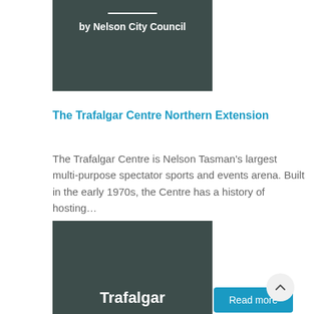[Figure (other): Dark grey/teal card with white underline and text 'by Nelson City Council']
The Trafalgar Centre Northern Extension
The Trafalgar Centre is Nelson Tasman's largest multi-purpose spectator sports and events arena. Built in the early 1970s, the Centre has a history of hosting...
Read more
[Figure (other): Dark grey/teal card with bold white text 'Trafalgar' partially visible at bottom]